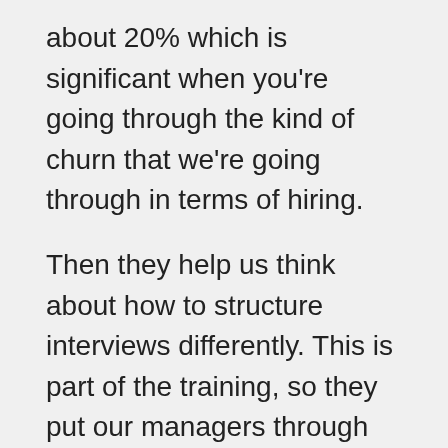about 20% which is significant when you're going through the kind of churn that we're going through in terms of hiring.
Then they help us think about how to structure interviews differently. This is part of the training, so they put our managers through training to understand how to shift and adapt the hiring process. An example would be changing your questions. So, some people have challenges with behaviour based interviews.
A question that you would expect to hear for a customer service role, “tell me about a